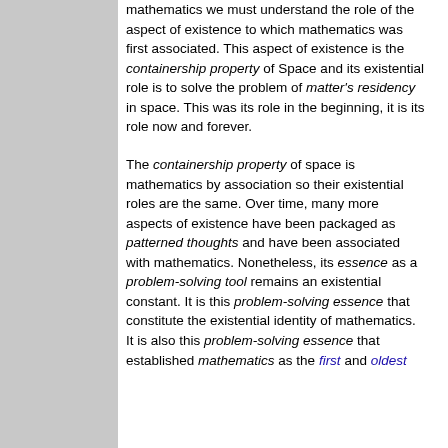mathematics we must understand the role of the aspect of existence to which mathematics was first associated. This aspect of existence is the containership property of Space and its existential role is to solve the problem of matter's residency in space. This was its role in the beginning, it is its role now and forever.
The containership property of space is mathematics by association so their existential roles are the same. Over time, many more aspects of existence have been packaged as patterned thoughts and have been associated with mathematics. Nonetheless, its essence as a problem-solving tool remains an existential constant. It is this problem-solving essence that constitute the existential identity of mathematics. It is also this problem-solving essence that established mathematics as the first and oldest